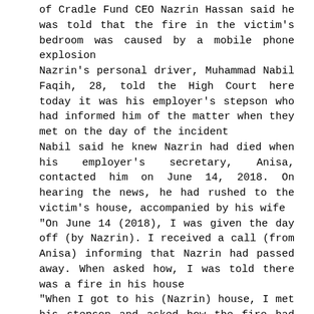of Cradle Fund CEO Nazrin Hassan said he was told that the fire in the victim's bedroom was caused by a mobile phone explosion
Nazrin's personal driver, Muhammad Nabil Faqih, 28, told the High Court here today it was his employer's stepson who had informed him of the matter when they met on the day of the incident
Nabil said he knew Nazrin had died when his employer's secretary, Anisa, contacted him on June 14, 2018. On hearing the news, he had rushed to the victim's house, accompanied by his wife
"On June 14 (2018), I was given the day off (by Nazrin). I received a call (from Anisa) informing that Nazrin had passed away. When asked how, I was told there was a fire in his house
"When I got to his (Nazrin) house, I met his stepson and asked how the fire had occurred
"He said the mobile phone exploded and fragments from the blast had also hit him on the back," he said when questioned by deputy public prosecutor Mohd Asnawi Abu Hanipah
Earlier, Asnawi asked Nabil of his whereabouts on June 14, 2018 and how he knew his employer had died
When asked what he understood by "on the back", as told by Nazrin's stepson, Nabil could not explain as he could not